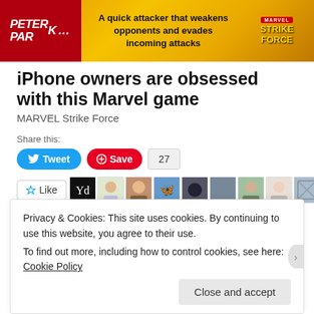[Figure (photo): Marvel Strike Force advertisement banner showing Peter Parker character, text 'A quick attacker that weakens opponents and evades incoming attacks', Marvel Strike Force logo on yellow/orange background]
iPhone owners are obsessed with this Marvel game
MARVEL Strike Force
Share this:
Tweet   Save   27
Like
107 bloggers like this.
Privacy & Cookies: This site uses cookies. By continuing to use this website, you agree to their use.
To find out more, including how to control cookies, see here: Cookie Policy
Close and accept